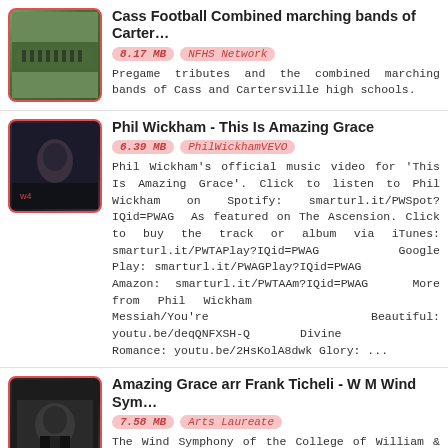Cass Football Combined marching bands of Carter… | 8.17 MB | NFHS Network | Pregame tributes and the combined marching bands of Cass and Cartersville high schools.
Phil Wickham - This Is Amazing Grace | 6.39 MB | PhilWickhamVEVO | Phil Wickham's official music video for 'This Is Amazing Grace'. Click to listen to Phil Wickham on Spotify: smarturl.it/PWSpot?IQid=PWAG  As featured on The Ascension. Click to buy the track or album via iTunes: smarturl.it/PWTAPlay?IQid=PWAG  Google Play: smarturl.it/PWAGPlay?IQid=PWAG  Amazon: smarturl.it/PWTAAm?IQid=PWAG  More from Phil Wickham  Messiah/You're Beautiful: youtu.be/deqQNFXSH-Q  Divine Romance: youtu.be/2HsKolA8dwk Glory: ...
Amazing Grace arr Frank Ticheli - W M Wind Sym… | 7.58 MB | Arts Laureate | The Wind Symphony of the College of William & Mary performs in PBK on April 26, 2011. Featuring Tim Rivenburg on alto saxophone.
Notre State Bands - Amazing Grace Tribute | 4.3 MB | University of Notre Dame Bands | On September 22nd, 2001, the Notre Dame and Michigan State Marching Bands joined together on the